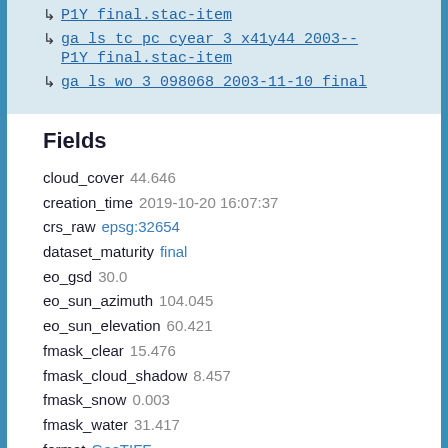↳ P1Y_final.stac-item
↳ ga_ls_tc_pc_cyear_3_x41y44_2003--P1Y_final.stac-item
↳ ga_ls_wo_3_098068_2003-11-10_final
Fields
cloud_cover 44.646
creation_time 2019-10-20 16:07:37
crs_raw epsg:32654
dataset_maturity final
eo_gsd 30.0
eo_sun_azimuth 104.045
eo_sun_elevation 60.421
fmask_clear 15.476
fmask_cloud_shadow 8.457
fmask_snow 0.003
fmask_water 31.417
format GeoTIFF